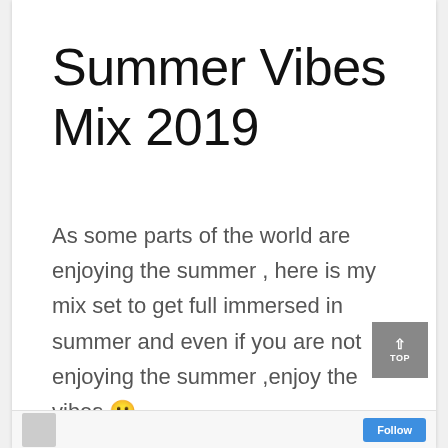Summer Vibes Mix 2019
As some parts of the world are enjoying the summer , here is my mix set to get full immersed in summer and even if you are not enjoying the summer ,enjoy the vibes 🙂